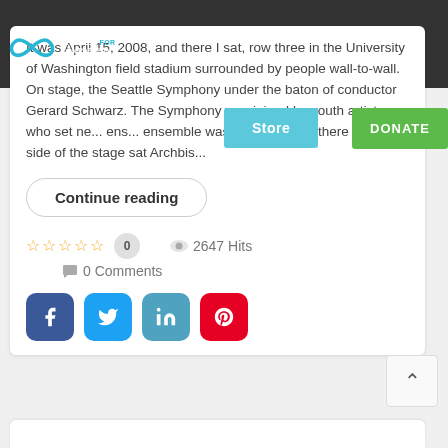[Figure (logo): Charter for Compassion logo with infinity symbol in blue and text]
It was April 15, 2008, and there I sat, row three in the University of Washington field stadium surrounded by people wall-to-wall. On stage, the Seattle Symphony under the baton of conductor Gerard Schwarz. The Symphony was joined by youth artists who set ne... ens... ensemble was immense and there to the side of the stage sat Archbis...
Continue reading
☆☆☆☆☆  0    👁 2647 Hits
💬 0 Comments
[Figure (illustration): Social share buttons: Facebook, Twitter, LinkedIn, Pinterest]